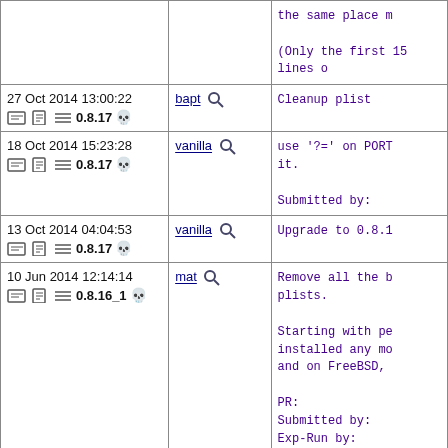| Date/Version | Committer | Message |
| --- | --- | --- |
| (top row partial) |  | the same place m

(Only the first 15 lines o |
| 27 Oct 2014 13:00:22  0.8.17 | bapt | Cleanup plist |
| 18 Oct 2014 15:23:28  0.8.17 | vanilla | use '?=' on PORT
it.

Submitted by: |
| 13 Oct 2014 04:04:53  0.8.17 | vanilla | Upgrade to 0.8.1 |
| 10 Jun 2014 12:14:14  0.8.16_1 | mat | Remove all the b
plists.

Starting with pe
installed any mo
and on FreeBSD,

PR:
Submitted by:
Exp-Run by:
Sponsored by: |
| 03 Jun 2014 13:20:23  0.8.16_1 | vanilla | 1: Fix COMMENT.
2: add libtool t |